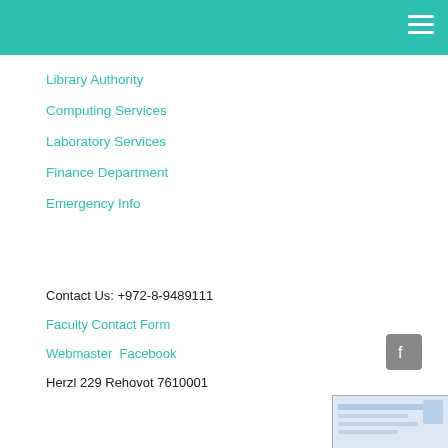Library Authority
Computing Services
Laboratory Services
Finance Department
Emergency Info
Contact Us: +972-8-9489111
Faculty Contact Form
Webmaster  Facebook
Herzl 229 Rehovot 7610001
[Figure (other): Partial image visible at bottom right corner of page]